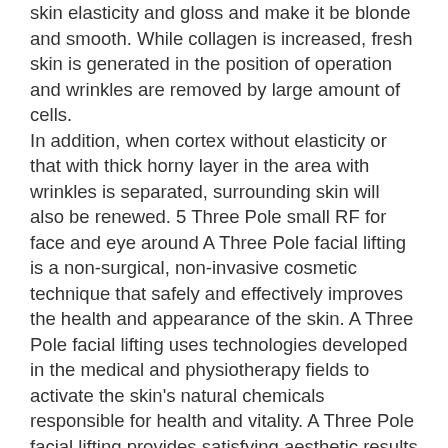skin elasticity and gloss and make it be blonde and smooth. While collagen is increased, fresh skin is generated in the position of operation and wrinkles are removed by large amount of cells. In addition, when cortex without elasticity or that with thick horny layer in the area with wrinkles is separated, surrounding skin will also be renewed. 5 Three Pole small RF for face and eye around A Three Pole facial lifting is a non-surgical, non-invasive cosmetic technique that safely and effectively improves the health and appearance of the skin. A Three Pole facial lifting uses technologies developed in the medical and physiotherapy fields to activate the skin's natural chemicals responsible for health and vitality. A Three Pole facial lifting provides satisfying aesthetic results with less risk of side effects compared to a traditional face lift. The A trThree Pole facial lifting procedure is proven safe and effective, delivering results at a fraction of the cost of